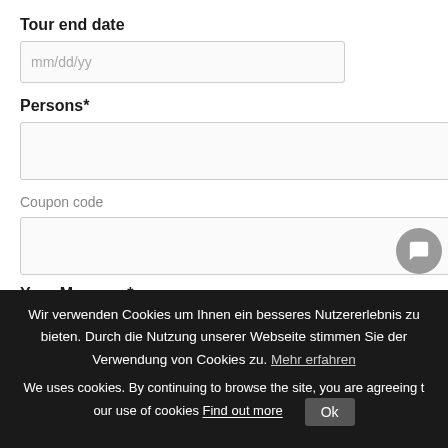Tour end date
mm/dd/yy
Persons*
Coupon code
Your Message*
Wir verwenden Cookies um Ihnen ein besseres Nutzererlebnis zu bieten. Durch die Nutzung unserer Webseite stimmen Sie der Verwendung von Cookies zu. Mehr erfahren
We uses cookies. By continuing to browse the site, you are agreeing to our use of cookies Find out more  Ok